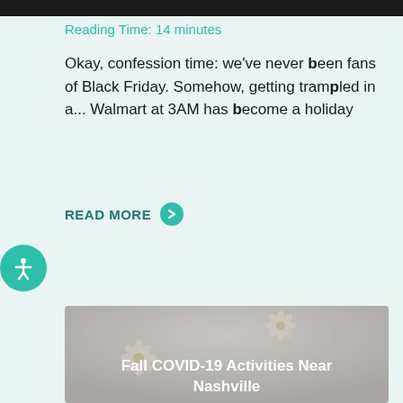[Figure (photo): Dark top image bar (cropped photo of outdoor scene)]
Reading Time: 14 minutes
Okay, confession time: we've never been fans of Black Friday. Somehow, getting trampled in a... Walmart at 3AM has become a holiday
READ MORE
[Figure (photo): White/light grey background with small white daisy flowers, card titled 'Fall COVID-19 Activities Near Nashville']
Fall COVID-19 Activities Near Nashville